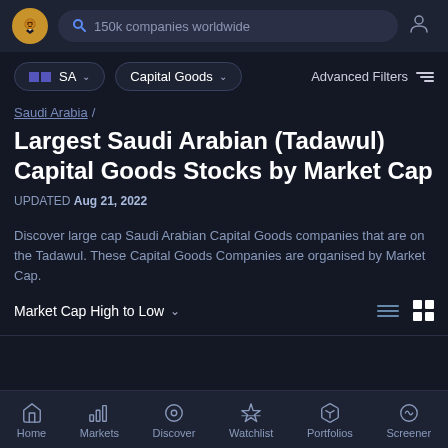[Figure (screenshot): Top navigation bar with logo, search bar showing '150k companies worldwide', and user icon]
SA ∨   Capital Goods ∨   Advanced Filters
Saudi Arabia /
Largest Saudi Arabian (Tadawul) Capital Goods Stocks by Market Cap
UPDATED Aug 21, 2022
Discover large cap Saudi Arabian Capital Goods companies that are on the Tadawul. These Capital Goods Companies are organised by Market Cap.
Market Cap High to Low ∨
Home   Markets   Discover   Watchlist   Portfolios   Screener